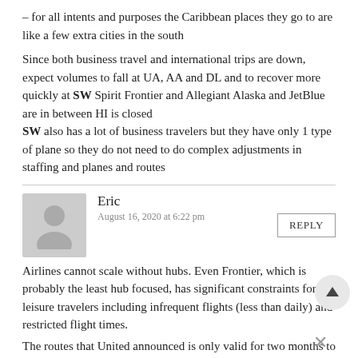– for all intents and purposes the Caribbean places they go to are like a few extra cities in the south
Since both business travel and international trips are down, expect volumes to fall at UA, AA and DL and to recover more quickly at SW Spirit Frontier and Allegiant Alaska and JetBlue are in between HI is closed
SW also has a lot of business travelers but they have only 1 type of plane so they do not need to do complex adjustments in staffing and planes and routes
Eric
August 16, 2020 at 6:22 pm
Airlines cannot scale without hubs. Even Frontier, which is probably the least hub focused, has significant constraints for leisure travelers including infrequent flights (less than daily) and restricted flight times.
The routes that United announced is only valid for two months to capture as much leisure traffic as possible to increase utilization
on a fleet that is significantly underutilized due to covid.